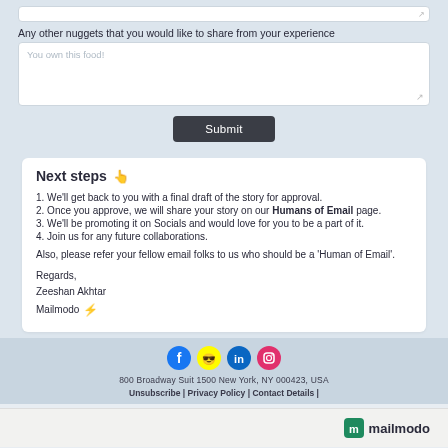[Figure (screenshot): Small textarea input at top of form, mostly cut off]
Any other nuggets that you would like to share from your experience
[Figure (screenshot): Large textarea with placeholder text 'You own this food!']
[Figure (screenshot): Submit button]
Next steps 👉
1. We'll get back to you with a final draft of the story for approval.
2. Once you approve, we will share your story on our Humans of Email page.
3. We'll be promoting it on Socials and would love for you to be a part of it.
4. Join us for any future collaborations.
Also, please refer your fellow email folks to us who should be a 'Human of Email'.
Regards,
Zeeshan Akhtar
Mailmodo ⚡
[Figure (infographic): Social media icons: Facebook, Snapchat, LinkedIn, Instagram]
800 Broadway Suit 1500 New York, NY 000423, USA
Unsubscribe | Privacy Policy | Contact Details |
[Figure (logo): Mailmodo logo with icon at bottom right]